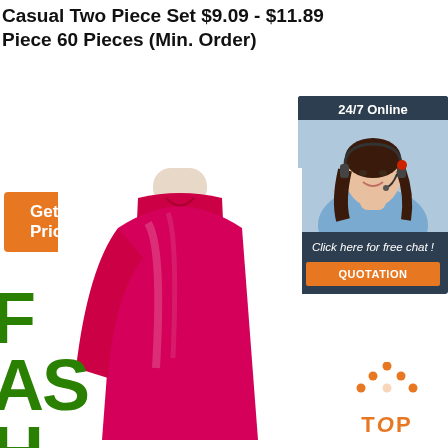Casual Two Piece Set $9.09 - $11.89 Piece 60 Pieces (Min. Order)
[Figure (other): Orange 'Get Price' button]
[Figure (other): 24/7 Online customer service chat widget with photo of woman wearing headset, 'Click here for free chat!' text, and orange QUOTATION button]
[Figure (photo): Red/magenta silk blouse on a mannequin, side view]
[Figure (other): Partially visible green 'FASHION' text watermark on bottom left]
[Figure (other): Orange 'TOP' icon with dotted arrow pointing up]